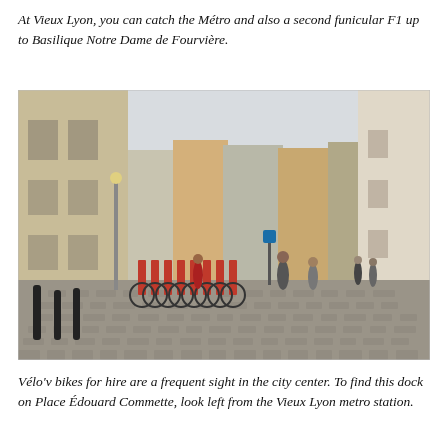At Vieux Lyon, you can catch the Métro and also a second funicular F1 up to Basilique Notre Dame de Fourvière.
[Figure (photo): A wide cobblestone plaza in Lyon (Place Édouard Commette) with a row of red Vélo'v rental bikes docked on the left, pedestrians walking across the square, and classic Haussmann-style buildings lining the background under an overcast sky.]
Vélo'v bikes for hire are a frequent sight in the city center. To find this dock on Place Édouard Commette, look left from the Vieux Lyon metro station.